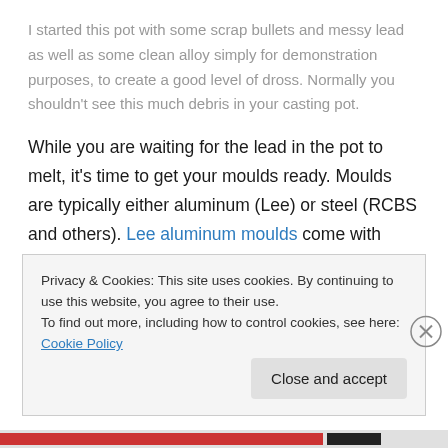I started this pot with some scrap bullets and messy lead as well as some clean alloy simply for demonstration purposes, to create a good level of dross. Normally you shouldn't see this much debris in your casting pot.
While you are waiting for the lead in the pot to melt, it's time to get your moulds ready. Moulds are typically either aluminum (Lee) or steel (RCBS and others). Lee aluminum moulds come with handles and are less expensive, RCBS moulds and handles sell separately and are more costly. If you are starting out (probably, or you
Privacy & Cookies: This site uses cookies. By continuing to use this website, you agree to their use.
To find out more, including how to control cookies, see here: Cookie Policy